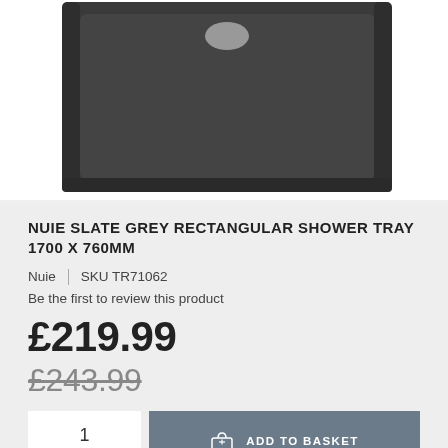[Figure (photo): Top-down view of a dark slate grey rectangular shower tray with a central oval drain cover, shown on a white background]
NUIE SLATE GREY RECTANGULAR SHOWER TRAY 1700 X 760MM
Nuie | SKU TR71062
Be the first to review this product
£219.99
£243.99